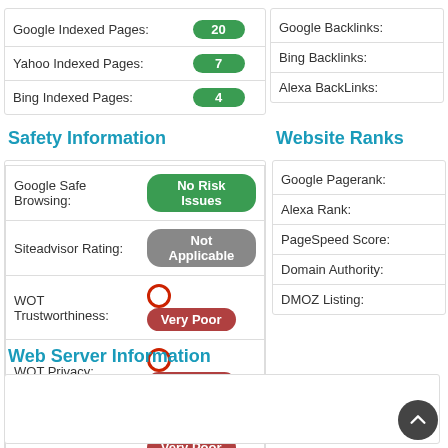|  |  |
| --- | --- |
| Google Indexed Pages: | 20 |
| Yahoo Indexed Pages: | 7 |
| Bing Indexed Pages: | 4 |
|  |  |
| --- | --- |
| Google Backlinks: |  |
| Bing Backlinks: |  |
| Alexa BackLinks: |  |
Safety Information
Website Ranks
|  |  |
| --- | --- |
| Google Safe Browsing: | No Risk Issues |
| Siteadvisor Rating: | Not Applicable |
| WOT Trustworthiness: | Very Poor |
| WOT Privacy: | Very Poor |
| WOT Child Safety: | Very Poor |
|  |  |
| --- | --- |
| Google Pagerank: |  |
| Alexa Rank: |  |
| PageSpeed Score: |  |
| Domain Authority: |  |
| DMOZ Listing: |  |
Web Server Information